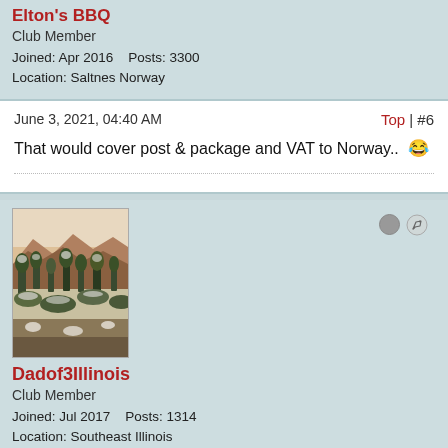Elton's BBQ
Club Member
Joined: Apr 2016    Posts: 3300
Location: Saltnes Norway
June 3, 2021, 04:40 AM
Top | #6
That would cover post & package and VAT to Norway.. 😄
[Figure (photo): Outdoor canyon/landscape photo with trees and rock formations, used as forum avatar]
Dadof3Illinois
Club Member
Joined: Jul 2017    Posts: 1314
Location: Southeast Illinois
June 3, 2021, 06:14 AM
Top | #7